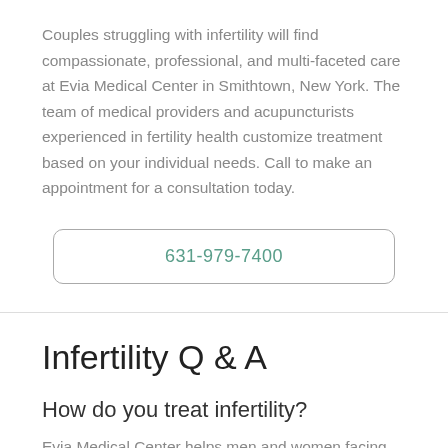Couples struggling with infertility will find compassionate, professional, and multi-faceted care at Evia Medical Center in Smithtown, New York. The team of medical providers and acupuncturists experienced in fertility health customize treatment based on your individual needs. Call to make an appointment for a consultation today.
631-979-7400
Infertility Q & A
How do you treat infertility?
Evia Medical Center helps men and women facing infertility